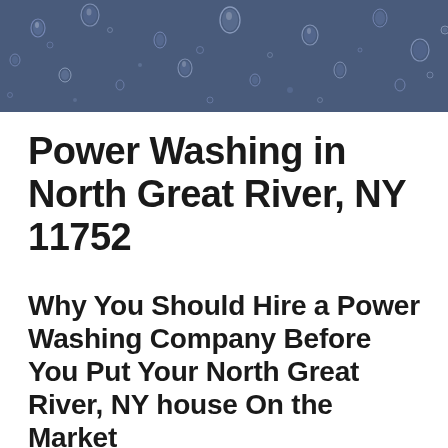[Figure (photo): Close-up photo of water droplets on a dark blue/grey surface, giving a rainy or wet glass texture appearance.]
Power Washing in North Great River, NY 11752
Why You Should Hire a Power Washing Company Before You Put Your North Great River, NY house On the Market